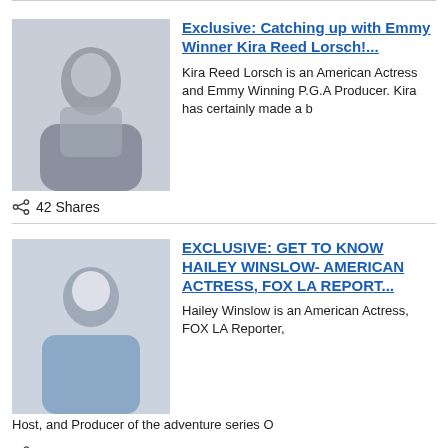Exclusive: Catching up with Emmy Winner Kira Reed Lorsch!...
Kira Reed Lorsch is an American Actress and Emmy Winning P.G.A Producer. Kira has certainly made a b
42 Shares
EXCLUSIVE: GET TO KNOW HAILEY WINSLOW- AMERICAN ACTRESS, FOX LA REPORT...
Hailey Winslow is an American Actress, FOX LA Reporter, Host, and Producer of the adventure series O
89 Shares
RISING STAR EXCLUSIVE: Get To Know Director, Writer & Actor Anil ...
Anil P. Bajaj is a director, actor and screenwriter. He is known for his roles in Claws, Body Cam, a
61 Shares